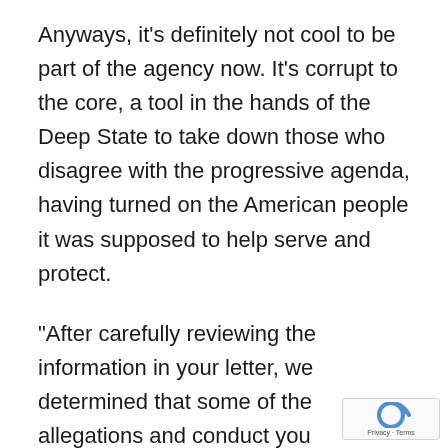Anyways, it's definitely not cool to be part of the agency now. It's corrupt to the core, a tool in the hands of the Deep State to take down those who disagree with the progressive agenda, having turned on the American people it was supposed to help serve and protect.
“After carefully reviewing the information in your letter, we determined that some of the allegations and conduct you described in your letter implicate potential violations of the Hatch Act, which limits certain political activities federal employees,” Horowitz stated in the letter.